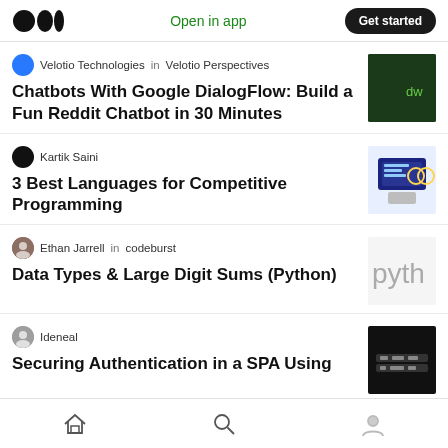Medium app header with logo, Open in app, Get started
Velotio Technologies in Velotio Perspectives
Chatbots With Google DialogFlow: Build a Fun Reddit Chatbot in 30 Minutes
Kartik Saini
3 Best Languages for Competitive Programming
Ethan Jarrell in codeburst
Data Types & Large Digit Sums (Python)
Ideneal
Securing Authentication in a SPA Using
Bottom navigation: Home, Search, Profile